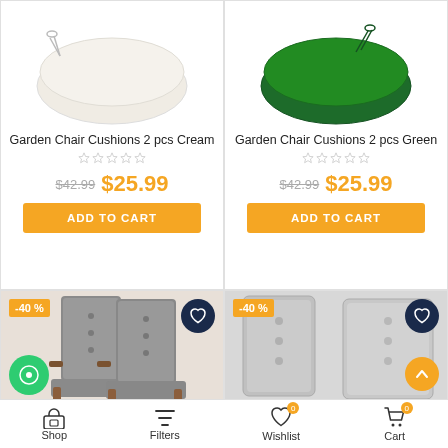[Figure (photo): Cream/beige square garden chair cushion on white background]
Garden Chair Cushions 2 pcs Cream
$42.99  $25.99
[Figure (photo): Green square garden chair cushion on white background]
Garden Chair Cushions 2 pcs Green
$42.99  $25.99
[Figure (photo): Two wooden folding garden chairs with grey cushions, -40% badge]
[Figure (photo): Two grey high-back garden chair cushions, -40% badge]
Shop  Filters  Wishlist 0  Cart 0